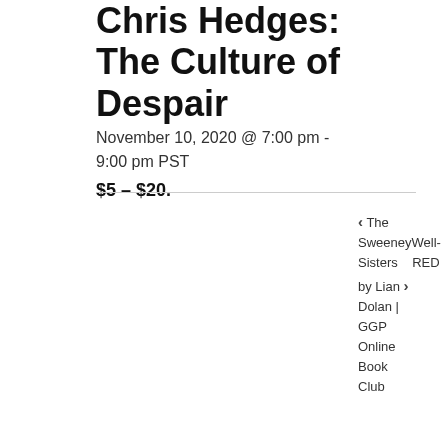Chris Hedges: The Culture of Despair
November 10, 2020 @ 7:00 pm - 9:00 pm PST
$5 – $20.
‹ The Sweeney Sisters   RED by Lian Dolan | GGP Online Book Club ›